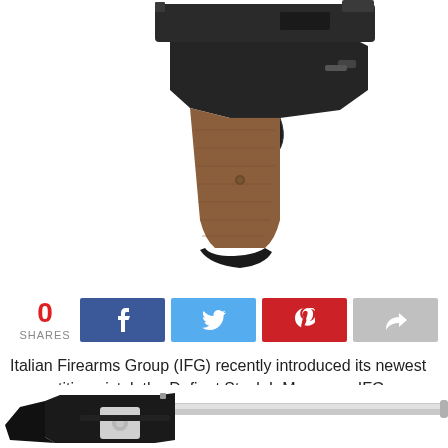[Figure (photo): Close-up photo of a black competition pistol with wooden brown grip panels, viewed from the side/rear angle against a white background.]
0
SHARES
[Figure (infographic): Social share buttons row: Facebook (dark blue with f icon), Twitter (light blue with bird icon), Pinterest (red with P icon), Share/forward (grey with arrow icon).]
Italian Firearms Group (IFG) recently introduced its newest competition pistol, the Defiant Stock I. Moreover, IFG designed the pistol specifically for practical pistol shooting, including USPSA/IPSC Production Division and IDPA SSP and ESP Classes.
[Figure (photo): Partial photo of a shotgun with silver/chrome barrel and black stock, shown horizontally at the bottom of the page against a white background.]